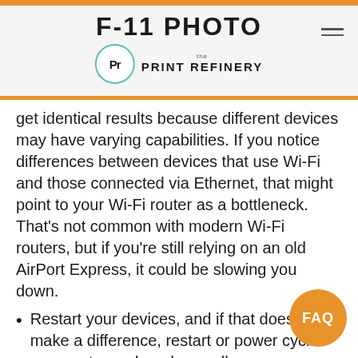F-11 PHOTO / The Print Refinery
get identical results because different devices may have varying capabilities. If you notice differences between devices that use Wi-Fi and those connected via Ethernet, that might point to your Wi-Fi router as a bottleneck. That's not common with modern Wi-Fi routers, but if you're still relying on an old AirPort Express, it could be slowing you down.
Restart your devices, and if that doesn't make a difference, restart or power cycle your router and modem well.